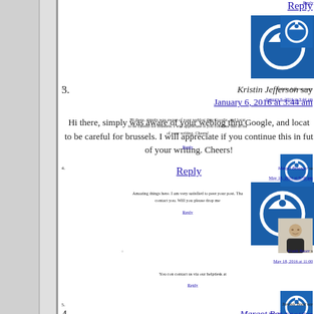Reply
3.
[Figure (illustration): Blue power/user avatar icon for comment 3 (Kristin Jefferson)]
Kristin Jefferson says
January 6, 2016 at 3:44 am
Hi there, simply was aware of your weblog thru Google, and located to be careful for brussels. I will appreciate if you continue this in future of your writing. Cheers!
Reply
4.
[Figure (illustration): Blue power/user avatar icon for comment 4 (Margot Belanger)]
Margot Belanger says
May 18, 2016 at 9:58 pm
Amazing things here. I am very satisfied to peer your post. Tha contact you. Will you please drop me
Reply
[Figure (photo): Photo of Frank Bauer, a man in a suit]
Frank Bauer says
May 18, 2016 at 11:00
You can contact us via our helpdesk at
Reply
5.
[Figure (illustration): Blue power/user avatar icon for comment 5 (Tommie Bond)]
Tommie Bond says
May 30, 2016 at 4:59 pm
If affiliate marketing is really that profitable, then majority of blue